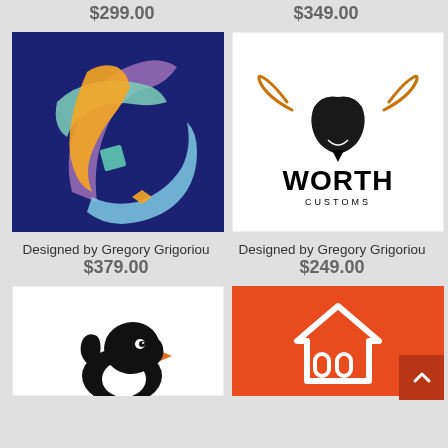$299.00
$349.00
[Figure (logo): Abstract colorful ribbon globe logo on dark blue background]
[Figure (logo): Worth Customs logo: longhorn bull head in orange and black with WORTH CUSTOMS text on white background]
Designed by Gregory Grigoriou
$379.00
Designed by Gregory Grigoriou
$249.00
[Figure (logo): Black penguin bird logo on white background, partially visible]
[Figure (logo): White house/building icon with arched windows on orange/red background, partially visible]